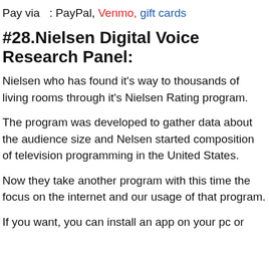Pay via : PayPal, Venmo, gift cards
#28.Nielsen Digital Voice Research Panel:
Nielsen who has found it's way to thousands of living rooms through it's Nielsen Rating program.
The program was developed to gather data about the audience size and Nelsen started composition of television programming in the United States.
Now they take another program with this time the focus on the internet and our usage of that program.
If you want, you can install an app on your pc or